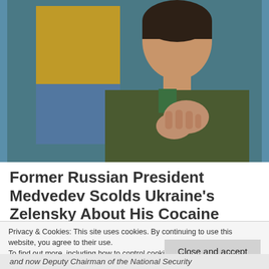[Figure (photo): A man (Ukrainian President Zelensky) wearing an olive green jacket with hand on chest, in front of a yellow and blue Ukrainian flag background]
Former Russian President Medvedev Scolds Ukraine's Zelensky About His Cocaine
Privacy & Cookies: This site uses cookies. By continuing to use this website, you agree to their use.
To find out more, including how to control cookies, see here: Cookie Policy
Close and accept
and now Deputy Chairman of the National Security